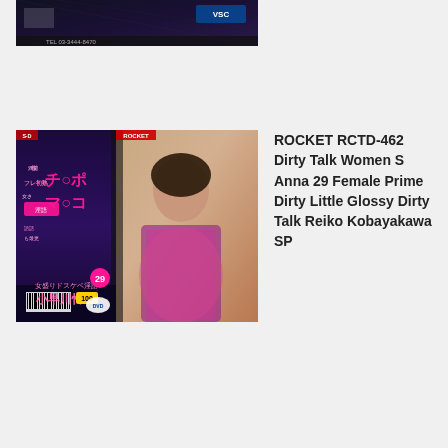[Figure (photo): Partial DVD cover image at top of page, dark background with Japanese text]
[Figure (photo): DVD cover for ROCKET RCTD-462 featuring Japanese text and woman in floral dress]
ROCKET RCTD-462 Dirty Talk Women S Anna 29 Female Prime Dirty Little Glossy Dirty Talk Reiko Kobayakawa SP